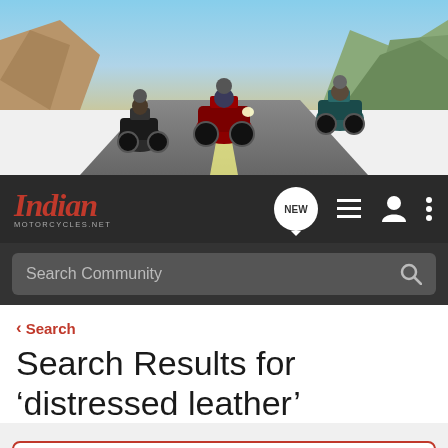[Figure (photo): Hero banner showing three Indian motorcycles riding on a mountain road with scenic rocky background]
Indian MOTORCYCLES.NET — Navigation bar with NEW, list, user, and menu icons
Search Community
< Search
Search Results for ‘distressed leather’
Hey everyone! Enter your ride HERE to be a part of August's Ride of the Month Challenge!